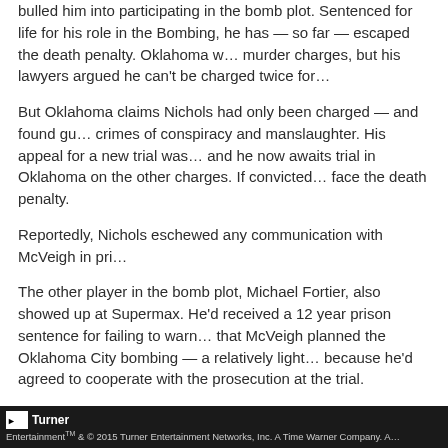bulled him into participating in the bomb plot. Sentenced for life for his role in the Bombing, he has — so far — escaped the death penalty. Oklahoma w... murder charges, but his lawyers argued he can't be charged twice for...
But Oklahoma claims Nichols had only been charged — and found gu... crimes of conspiracy and manslaughter. His appeal for a new trial was... and he now awaits trial in Oklahoma on the other charges. If convicted... face the death penalty.
Reportedly, Nichols eschewed any communication with McVeigh in pri...
The other player in the bomb plot, Michael Fortier, also showed up at Supermax. He'd received a 12 year prison sentence for failing to warn... that McVeigh planned the Oklahoma City bombing — a relatively light... because he'd agreed to cooperate with the prosecution at the trial.
On July 13, 1999, McVeigh was invited to a grand opening — that of th... institute for men now operating. The U.S. Bureau of Prisons' media rel...
"On July 13, the United States Penitentiary (USP) Terre Haute, Indiana...
Turner EntertainmentTM & © 2015 Turner Entertainment Networks, Inc. A Time Warner Company. A...